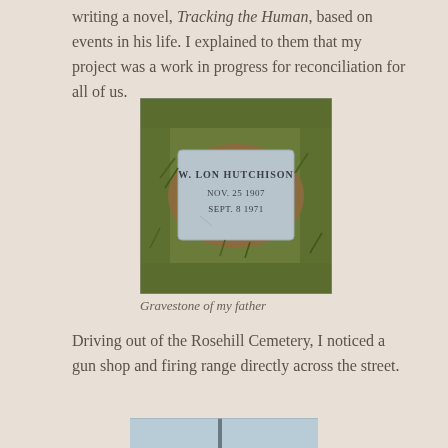writing a novel, Tracking the Human, based on events in his life. I explained to them that my project was a work in progress for reconciliation for all of us.
[Figure (photo): Gravestone of W. Lon Hutchison, Nov. 25 1907 – Sept. 8 1971, set in grass]
Gravestone of my father
Driving out of the Rosehill Cemetery, I noticed a gun shop and firing range directly across the street.
[Figure (photo): Partial view of another image at the bottom of the page, appears to be a building or sign with blue tones]